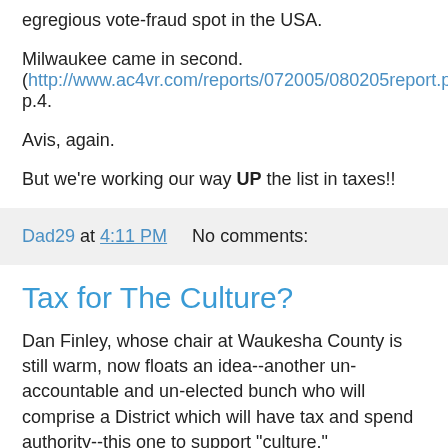egregious vote-fraud spot in the USA.
Milwaukee came in second. (http://www.ac4vr.com/reports/072005/080205report.pdf), p.4.
Avis, again.
But we're working our way UP the list in taxes!!
Dad29 at 4:11 PM    No comments:
Tax for The Culture?
Dan Finley, whose chair at Waukesha County is still warm, now floats an idea--another un-accountable and un-elected bunch who will comprise a District which will have tax and spend authority--this one to support "culture."
To nobody's surprise, the concept has already been in